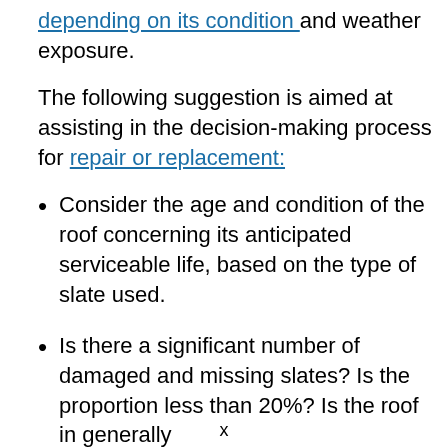depending on its condition and weather exposure.
The following suggestion is aimed at assisting in the decision-making process for repair or replacement:
Consider the age and condition of the roof concerning its anticipated serviceable life, based on the type of slate used.
Is there a significant number of damaged and missing slates? Is the proportion less than 20%? Is the roof in generally
x